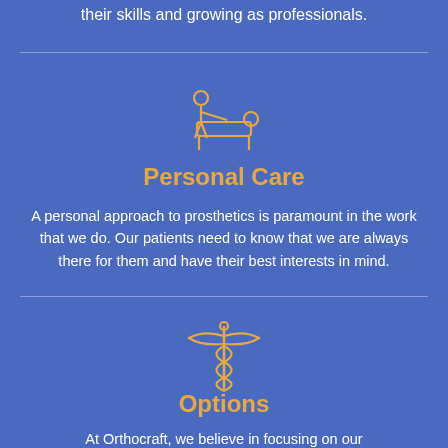their skills and growing as professionals.
[Figure (illustration): Orange line-art icon of a person performing prosthetics/rehabilitation work on a patient lying on a table]
Personal Care
A personal approach to prosthetics is paramount in the work that we do. Our patients need to know that we are always there for them and have their best interests in mind.
[Figure (illustration): Orange line-art caduceus medical symbol with wings]
Options
At Orthocraft, we believe in focusing on our